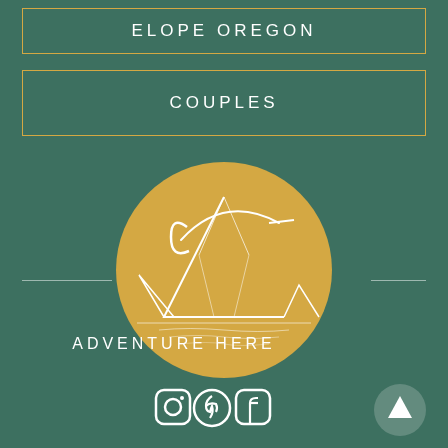ELOPE OREGON
COUPLES
[Figure (logo): Circular gold logo with white line art of mountains and stylized 'CA' script monogram on teal/green background]
ADVENTURE HERE
[Figure (illustration): Social media icons: Instagram, Pinterest, Facebook]